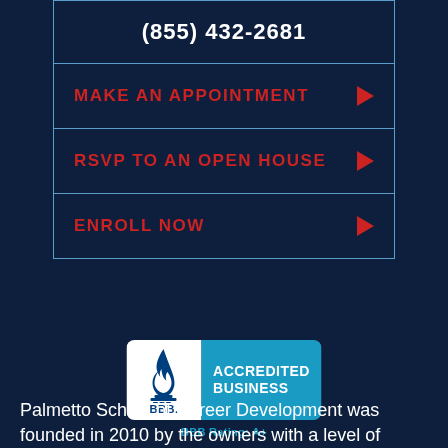(855) 432-2681
MAKE AN APPOINTMENT
RSVP TO AN OPEN HOUSE
ENROLL NOW
[Figure (logo): BBB Accredited Business logo badge with blue and white design]
BBB Rating: A+
Palmetto School of Career Development was founded in 2010 by the owners with a level of...